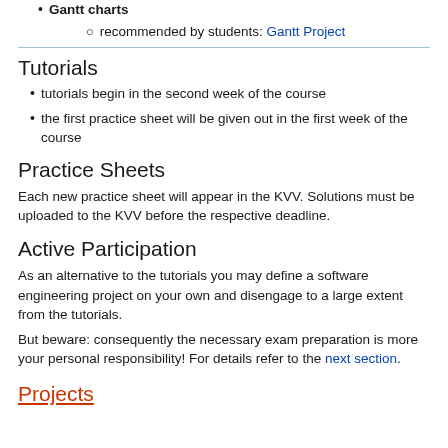Gantt charts
recommended by students: Gantt Project
Tutorials
tutorials begin in the second week of the course
the first practice sheet will be given out in the first week of the course
Practice Sheets
Each new practice sheet will appear in the KVV. Solutions must be uploaded to the KVV before the respective deadline.
Active Participation
As an alternative to the tutorials you may define a software engineering project on your own and disengage to a large extent from the tutorials.
But beware: consequently the necessary exam preparation is more your personal responsibility! For details refer to the next section.
Projects